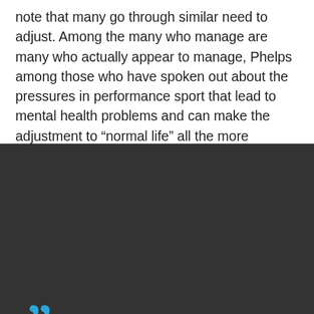note that many go through similar need to adjust. Among the many who manage are many who actually appear to manage, Phelps among those who have spoken out about the pressures in performance sport that lead to mental health problems and can make the adjustment to “normal life” all the more challenging. Keller tells the Olympic Channel:
[Figure (illustration): Dark grey quote box with large blue quotation marks and italic white text reading: “I’ll be honest I wasn’t a good employee ... for the longest time because I expected it all to come to me as easily as swimming did. Once things started going south. I” (text cut off). A blue circular scroll-up button with a chevron is overlaid at the right.]